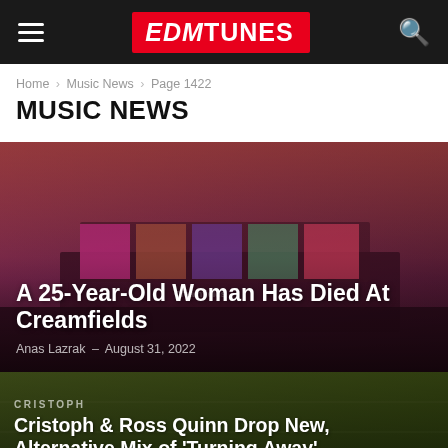EDMTunes
Home › Music News › Page 1422
MUSIC NEWS
[Figure (photo): Festival stage at Creamfields with colorful LED displays and crowd, with purple/pink hued lighting overlay]
A 25-Year-Old Woman Has Died At Creamfields
Anas Lazrak – August 31, 2022
[Figure (photo): Cristoph artist background with olive/green toned overlay]
Cristoph & Ross Quinn Drop New, Alternative Mix of 'Turning Away'